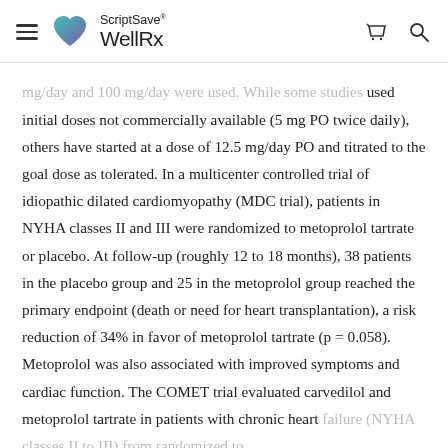ScriptSave WellRx
mg/day and 100 mg/day were used. While some studies used initial doses not commercially available (5 mg PO twice daily), others have started at a dose of 12.5 mg/day PO and titrated to the goal dose as tolerated. In a multicenter controlled trial of idiopathic dilated cardiomyopathy (MDC trial), patients in NYHA classes II and III were randomized to metoprolol tartrate or placebo. At follow-up (roughly 12 to 18 months), 38 patients in the placebo group and 25 in the metoprolol group reached the primary endpoint (death or need for heart transplantation), a risk reduction of 34% in favor of metoprolol tartrate (p = 0.058). Metoprolol was also associated with improved symptoms and cardiac function. The COMET trial evaluated carvedilol and metoprolol tartrate in patients with chronic heart failure (NYHA classes II to III) from randomized to...